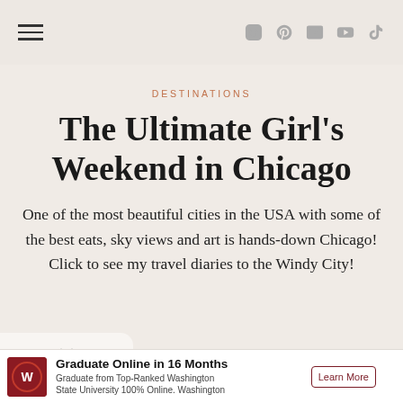[hamburger menu icon] [Instagram] [Pinterest] [mail] [YouTube] [TikTok]
DESTINATIONS
The Ultimate Girl's Weekend in Chicago
One of the most beautiful cities in the USA with some of the best eats, sky views and art is hands-down Chicago! Click to see my travel diaries to the Windy City!
[Figure (other): Chevron/down arrow button on left side]
Graduate Online in 16 Months
Graduate from Top-Ranked Washington State University 100% Online. Washington